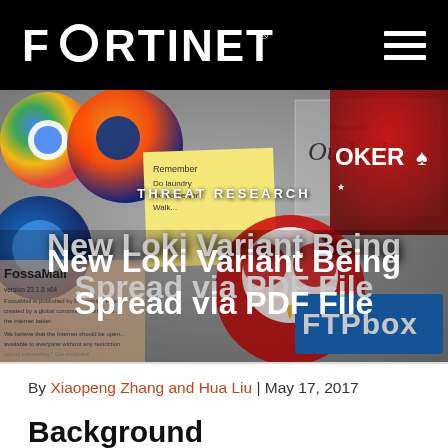FORTINET
[Figure (photo): Hero banner image showing various software application icons (Chrome, Firefox, Outlook, PokerStars, Thunderbird, FossaMail, 1Password, FTPbox, an eagle mascot) with overlay text 'THREAT RESEARCH' and title 'New Loki Variant Being Spread via PDF File']
New Loki Variant Being Spread via PDF File
By Xiaopeng Zhang and Hua Liu | May 17, 2017
Background